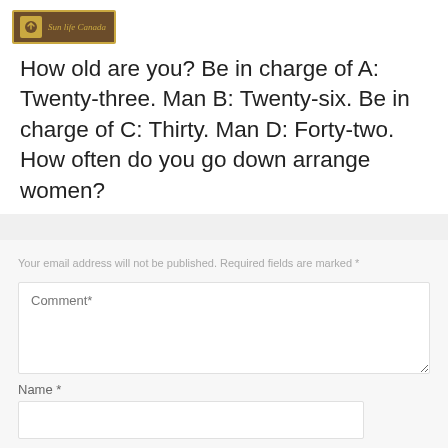[Figure (logo): Sun Life Canada logo with yellow icon and italic text on dark brown background]
How old are you? Be in charge of A: Twenty-three. Man B: Twenty-six. Be in charge of C: Thirty. Man D: Forty-two. How often do you go down arrange women?
Your email address will not be published. Required fields are marked *
Comment*
Name *
Email *